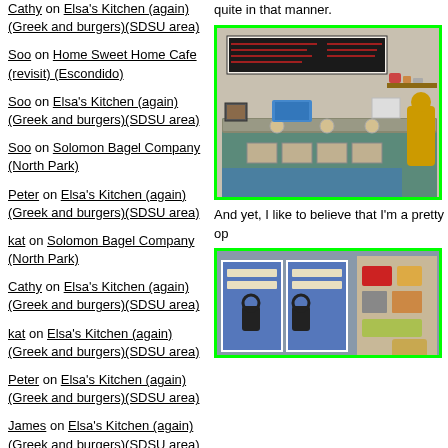Cathy on Elsa's Kitchen (again)(Greek and burgers)(SDSU area)
Soo on Home Sweet Home Cafe (revisit) (Escondido)
Soo on Elsa's Kitchen (again)(Greek and burgers)(SDSU area)
Soo on Solomon Bagel Company (North Park)
Peter on Elsa's Kitchen (again)(Greek and burgers)(SDSU area)
kat on Solomon Bagel Company (North Park)
Cathy on Elsa's Kitchen (again)(Greek and burgers)(SDSU area)
kat on Elsa's Kitchen (again)(Greek and burgers)(SDSU area)
Peter on Elsa's Kitchen (again)(Greek and burgers)(SDSU area)
James on Elsa's Kitchen (again)(Greek and burgers)(SDSU area)
ARCHIVES
August 2022
quite in that manner.
[Figure (photo): Interior photo of a restaurant counter/deli display case with food trays, overhead menu board, and decorative items on shelves. Green border around image.]
And yet, I like to believe that I'm a pretty op
[Figure (photo): Interior photo of a restaurant with blue walls and shelving with products. Green border around image.]